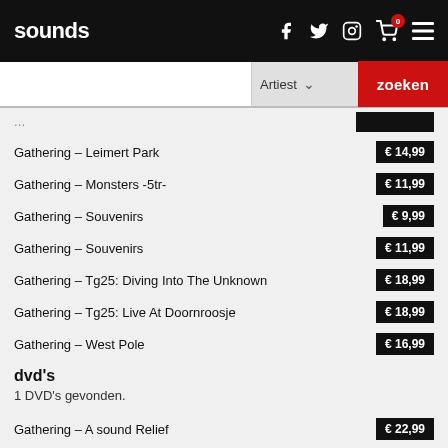sounds
Artiest  zoeken
Gathering - Leimert Park   € 14,99
Gathering - Monsters -5tr-   € 11,99
Gathering - Souvenirs   € 9,99
Gathering - Souvenirs   € 11,99
Gathering - Tg25: Diving Into The Unknown   € 18,99
Gathering - Tg25: Live At Doornroosje   € 18,99
Gathering - West Pole   € 16,99
dvd's
1 DVD's gevonden.
Gathering - A sound Relief   € 22,99
lp's